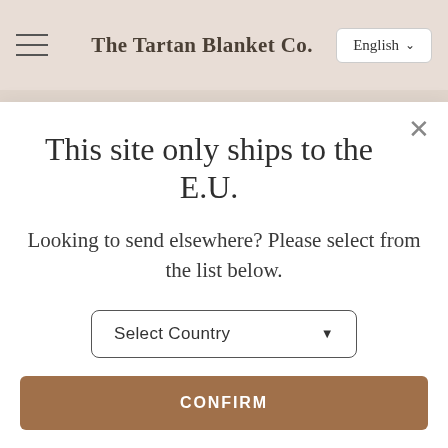The Tartan Blanket Co.  English
This site only ships to the E.U.
Looking to send elsewhere? Please select from the list below.
Select Country
CONFIRM
Excellent
4.91 average
6,581 reviews